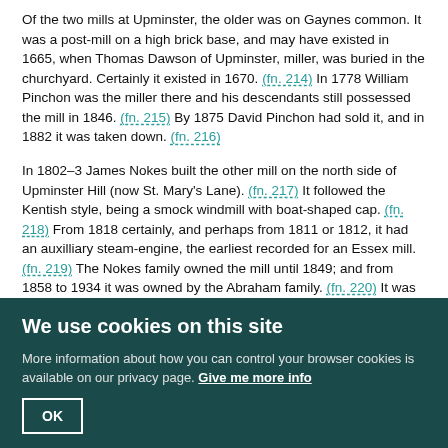Of the two mills at Upminster, the older was on Gaynes common. It was a post-mill on a high brick base, and may have existed in 1665, when Thomas Dawson of Upminster, miller, was buried in the churchyard. Certainly it existed in 1670. (fn. 214) In 1778 William Pinchon was the miller there and his descendants still possessed the mill in 1846. (fn. 215) By 1875 David Pinchon had sold it, and in 1882 it was taken down. (fn. 216)
In 1802–3 James Nokes built the other mill on the north side of Upminster Hill (now St. Mary's Lane). (fn. 217) It followed the Kentish style, being a smock windmill with boat-shaped cap. (fn. 218) From 1818 certainly, and perhaps from 1811 or 1812, it had an auxilliary steam-engine, the earliest recorded for an Essex mill. (fn. 219) The Nokes family owned the mill until 1849; and from 1858 to 1934 it was owned by the Abraham family. (fn. 220) It was damaged by lightning in 1889. (fn. 221) Ten years later the cast-iron shaft to which the sails were attached snapped at the neck and carried away part of the stage as it fell. Since the villagers regarded the mill as their communal weathervane, they raised £150 towards its repair. (fn. 222) The mill was sold in 1935 and again in 1937 when Essex county council bought it. (fn. 223) It was then in good condition but during the Second World War it decayed rapidly. The county council carried out major repairs in 1962–3. Ownership of the mill
We use cookies on this site
More information about how you can control your browser cookies is available on our privacy page. Give me more info
OK